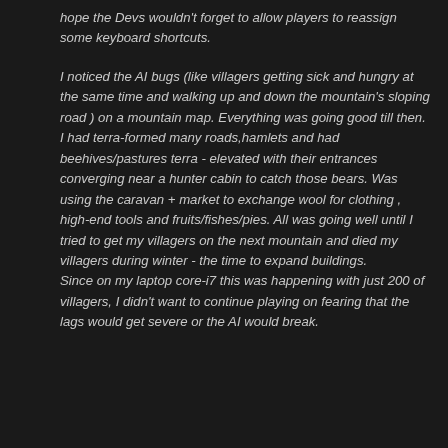hope the Devs wouldn't forget to allow players to reassign some keyboard shortcuts.
I noticed the AI bugs (like villagers getting sick and hungry at the same time and walking up and down the mountain's sloping road ) on a mountain map. Everything was going good till then. I had terra-formed many roads,hamlets and had beehives/pastures terra - elevated with their entrances converging near a hunter cabin to catch those bears. Was using the caravan + market to exchange wool for clothing , high-end tools and fruits/fishes/pies. All was going well until I tried to get my villagers on the next mountain and died my villagers during winter - the time to expand buildings. Since on my laptop core-i7 this was happening with just 200 of villagers, I didn't want to continue playing on fearing that the lags would get severe or the AI would break.